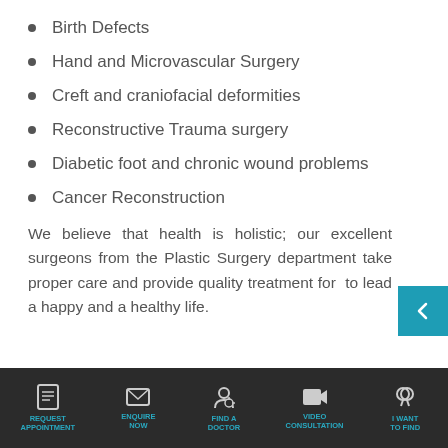Birth Defects
Hand and Microvascular Surgery
Creft and craniofacial deformities
Reconstructive Trauma surgery
Diabetic foot and chronic wound problems
Cancer Reconstruction
We believe that health is holistic; our excellent surgeons from the Plastic Surgery department take proper care and provide quality treatment for to lead a happy and a healthy life.
BENEFITS OF PLASTIC SURGERY
REQUEST APPOINTMENT | ENQUIRE NOW | FIND A DOCTOR | VIDEO CONSULTATION | I WANT TO FIND